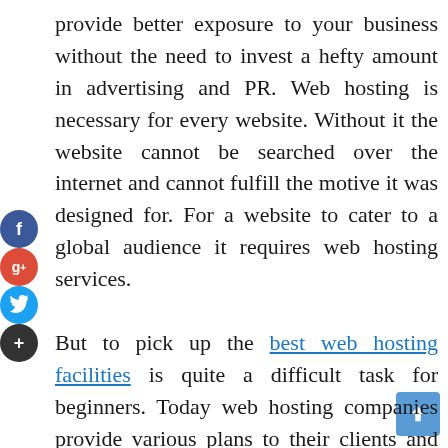provide better exposure to your business without the need to invest a hefty amount in advertising and PR. Web hosting is necessary for every website. Without it the website cannot be searched over the internet and cannot fulfill the motive it was designed for. For a website to cater to a global audience it requires web hosting services.

But to pick up the best web hosting facilities is quite a difficult task for beginners. Today web hosting companies provide various plans to their clients and each plan is different from others. Below are a few of the common web hosting